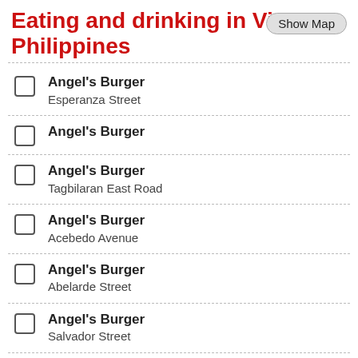Eating and drinking in Visayas, Philippines
Angel's Burger
Esperanza Street
Angel's Burger
Angel's Burger
Tagbilaran East Road
Angel's Burger
Acebedo Avenue
Angel's Burger
Abelarde Street
Angel's Burger
Salvador Street
Angel's Burger
Vicente H. Garces Street
Angel's Burger
Gorordo Avenue
Angel's Burger